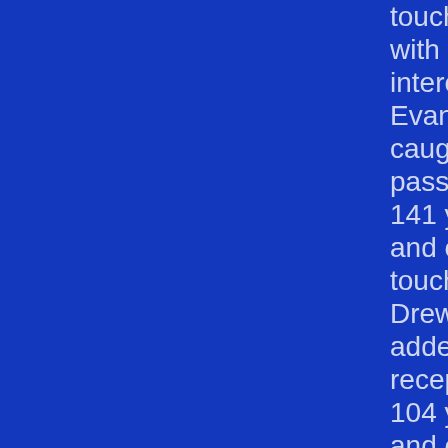touchdowns with one interception. Evan Brown caught five passes for 141 yards and one touchdown. Drew Nieves added three receptions for 104 yards and one touchdown. Parker Chaney caught three passes for 69 yards. Saxton Howard and Parker